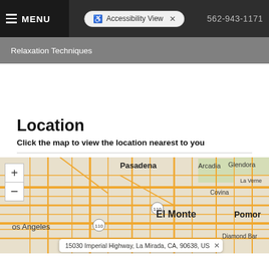MENU  Accessibility View  ×  562-943-1171
Relaxation Techniques
Location
Click the map to view the location nearest to you
[Figure (map): Interactive street map showing Los Angeles area including Pasadena, Arcadia, Glendora, El Monte, Covina, La Verne, Los Angeles, Pomona, Diamond Bar with zoom controls and address popup showing 15030 Imperial Highway, La Mirada, CA, 90638, US]